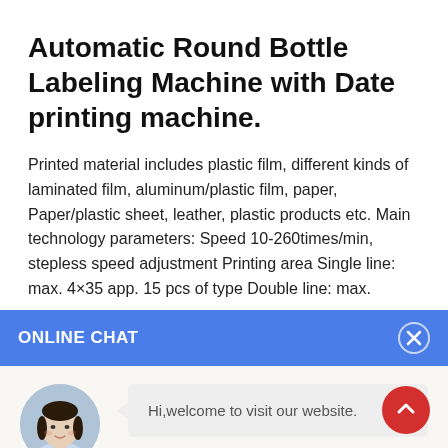Automatic Round Bottle Labeling Machine with Date printing machine.
Printed material includes plastic film, different kinds of laminated film, aluminum/plastic film, paper, Paper/plastic sheet, leather, plastic products etc. Main technology parameters: Speed 10-260times/min, stepless speed adjustment Printing area Single line: max. 4×35 app. 15 pcs of type Double line: max.
ONLINE CHAT
Hi,welcome to visit our website.